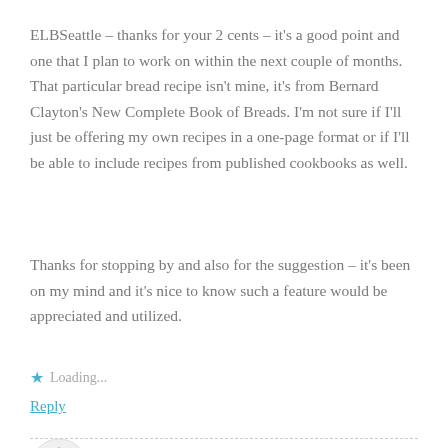ELBSeattle – thanks for your 2 cents – it's a good point and one that I plan to work on within the next couple of months. That particular bread recipe isn't mine, it's from Bernard Clayton's New Complete Book of Breads. I'm not sure if I'll just be offering my own recipes in a one-page format or if I'll be able to include recipes from published cookbooks as well.
Thanks for stopping by and also for the suggestion – it's been on my mind and it's nice to know such a feature would be appreciated and utilized.
★ Loading...
Reply
maxxconi